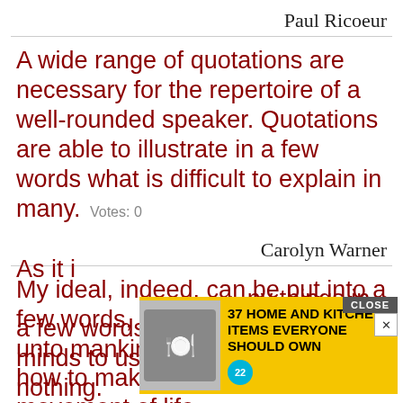Paul Ricoeur
A wide range of quotations are necessary for the repertoire of a well-rounded speaker. Quotations are able to illustrate in a few words what is difficult to explain in many. Votes: 0
Carolyn Warner
My ideal, indeed, can be put into a few words, and that is: to preach unto mankind their divinity, and how to make it manifest in every movement of life. Votes: 0
Swami Vivekananda
[Figure (screenshot): Advertisement overlay showing '37 HOME AND KITCHEN ITEMS EVERYONE SHOULD OWN' with a yellow background, a food image on the left, and a CLOSE button at top right with an X button.]
As it is... things in a few words, so it is that of little minds to use many words to say nothing. Votes: 0